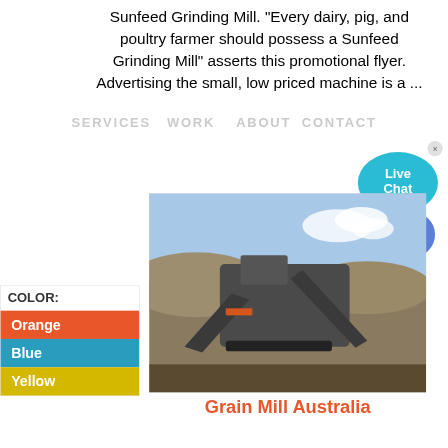Sunfeed Grinding Mill. "Every dairy, pig, and poultry farmer should possess a Sunfeed Grinding Mill" asserts this promotional flyer. Advertising the small, low priced machine is a ...
SERVICES  WORK   ABOUT  CONTACT
[Figure (other): Color selection panel showing COLOR: label, and three color swatches: Orange (orange/red), Blue (teal), Yellow (gold)]
[Figure (photo): Photograph of a grain mill machine (large mobile crushing/screening plant) at a quarry or mining site with dirt mounds and blue sky in background]
Grain Mill Australia
[Figure (infographic): Live Chat bubble widget in cyan/blue with text 'Live Chat' and a close (x) button, with a blue circle button with chat dots below]